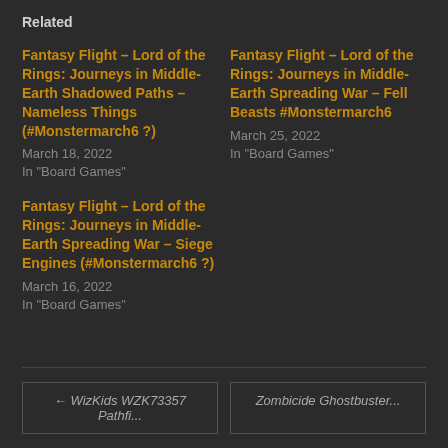Related
Fantasy Flight – Lord of the Rings: Journeys in Middle-Earth Shadowed Paths – Nameless Things (#Monstermarch6 ?)
March 18, 2022
In "Board Games"
Fantasy Flight – Lord of the Rings: Journeys in Middle-Earth Spreading War – Fell Beasts #Monstermarch6
March 25, 2022
In "Board Games"
Fantasy Flight – Lord of the Rings: Journeys in Middle-Earth Spreading War – Siege Engines (#Monstermarch6 ?)
March 16, 2022
In "Board Games"
← WizKids WZK73357 Pathfi...    Zombicide Ghostbuster...